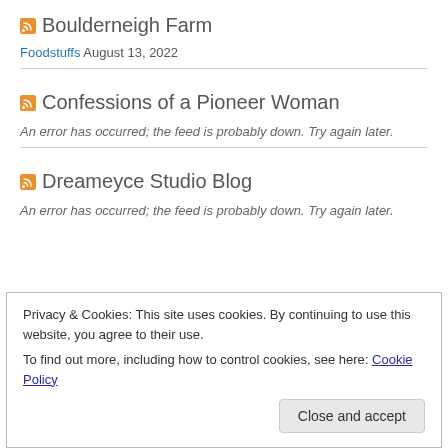Boulderneigh Farm
Foodstuffs August 13, 2022
Confessions of a Pioneer Woman
An error has occurred; the feed is probably down. Try again later.
Dreameyce Studio Blog
An error has occurred; the feed is probably down. Try again later.
Privacy & Cookies: This site uses cookies. By continuing to use this website, you agree to their use.
To find out more, including how to control cookies, see here: Cookie Policy
Close and accept